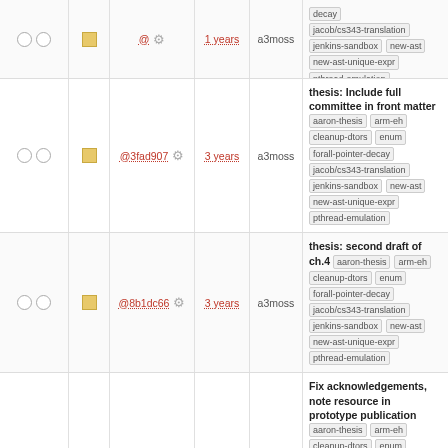| checks | sq | hash | age | user | description |
| --- | --- | --- | --- | --- | --- |
| ○ ○ | □ | @3fad907 ⚙ | 3 years | a3moss | thesis: Include full committee in front matter | aaron-thesis | arm-eh | cleanup-dtors | enum | forall-pointer-decay | jacob/cs343-translation | jenkins-sandbox | new-ast | new-ast-unique-expr | pthread-emulation |
| ○ ○ | □ | @8b1dc66 ⚙ | 3 years | a3moss | thesis: second draft of ch.4 | aaron-thesis | arm-eh | cleanup-dtors | enum | forall-pointer-decay | jacob/cs343-translation | jenkins-sandbox | new-ast | new-ast-unique-expr | pthread-emulation |
| ○ ○ | □ | @6a787f8 ⚙ | 3 years | a3moss | Fix acknowledgements, note resource in prototype publication | aaron-thesis | arm-eh | cleanup-dtors | enum | forall-pointer-decay | jacob/cs343-translation | jenkins-sandbox | new-ast | new-ast-unique-expr | pthread-emulation |
| ○ ○ | □ | @6e4411f ⚙ | 3 years | a3moss | thesis: add acknowledgements | aaron-thesis | arm-eh | cleanup-dtors | enum | forall-pointer-decay | jacob/cs343-translation | jenkins-sandbox | new-ast | new-ast-unique-expr | pthread-emulation |
| ○ ○ | □ | @7db4836 ⚙ | 4 years | a3moss | thesis: modify conversion graphs use subfigures | aaron-thesis | arm-eh | cleanup-dtors | enum | forall-pointer-decay | jacob/cs343-translation | jenkins-sandbox | new-ast | new-ast-unique-expr | pthread-emulation |